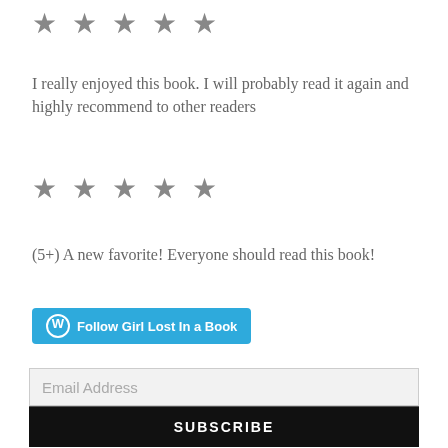[Figure (other): Five star rating icons in grey]
I really enjoyed this book. I will probably read it again and highly recommend to other readers
[Figure (other): Five star rating icons in grey]
(5+) A new favorite! Everyone should read this book!
[Figure (other): Follow Girl Lost In a Book button with WordPress icon]
Email Address
SUBSCRIBE